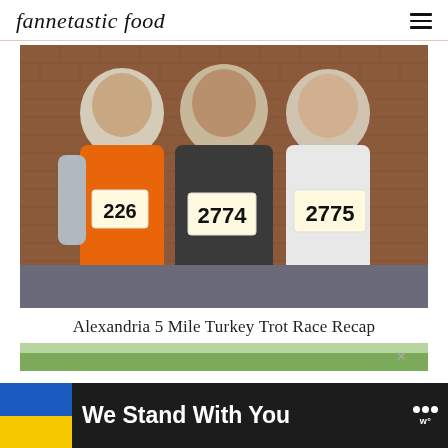fannetastic food
[Figure (photo): Three people wearing race bibs (numbers 226, 2774, 2775) standing in front of a brick wall. The person on the left wears an orange long-sleeve shirt, the middle person wears a dark zip-up jacket, and the person on the right wears a white t-shirt with an American flag design.]
Alexandria 5 Mile Turkey Trot Race Recap
[Figure (photo): Partial view of a second photo below, showing green foliage at the top.]
We Stand With You